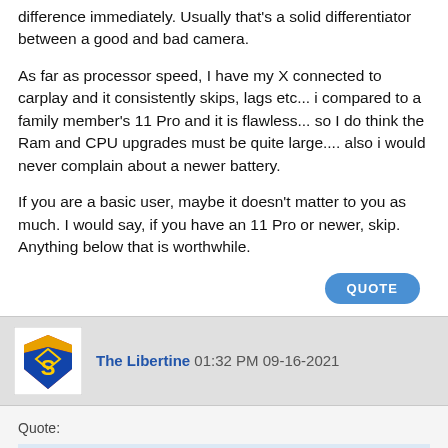difference immediately. Usually that's a solid differentiator between a good and bad camera.
As far as processor speed, I have my X connected to carplay and it consistently skips, lags etc... i compared to a family member's 11 Pro and it is flawless... so I do think the Ram and CPU upgrades must be quite large.... also i would never complain about a newer battery.
If you are a basic user, maybe it doesn't matter to you as much. I would say, if you have an 11 Pro or newer, skip. Anything below that is worthwhile.
QUOTE
The Libertine 01:32 PM 09-16-2021
Quote: Originally Posted by obert